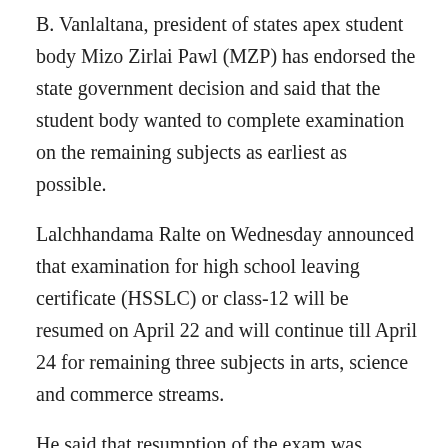B. Vanlaltana, president of states apex student body Mizo Zirlai Pawl (MZP) has endorsed the state government decision and said that the student body wanted to complete examination on the remaining subjects as earliest as possible.
Lalchhandama Ralte on Wednesday announced that examination for high school leaving certificate (HSSLC) or class-12 will be resumed on April 22 and will continue till April 24 for remaining three subjects in arts, science and commerce streams.
He said that resumption of the exam was inevitable and the issue has been discussed by the cabinet and meeting of NGOs and political parties on Monday.